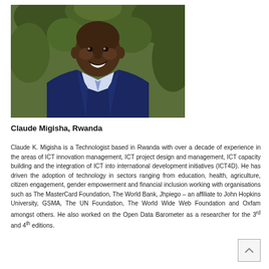[Figure (photo): Portrait photo of Claude Migisha, a man in a dark blue blazer smiling, with green foliage in the background.]
Claude Migisha, Rwanda
Claude K. Migisha is a Technologist based in Rwanda with over a decade of experience in the areas of ICT innovation management, ICT project design and management, ICT capacity building and the integration of ICT into international development initiatives (ICT4D). He has driven the adoption of technology in sectors ranging from education, health, agriculture, citizen engagement, gender empowerment and financial inclusion working with organisations such as The MasterCard Foundation, The World Bank, Jhpiego – an affiliate to John Hopkins University, GSMA, The UN Foundation, The World Wide Web Foundation and Oxfam amongst others. He also worked on the Open Data Barometer as a researcher for the 3rd and 4th editions.